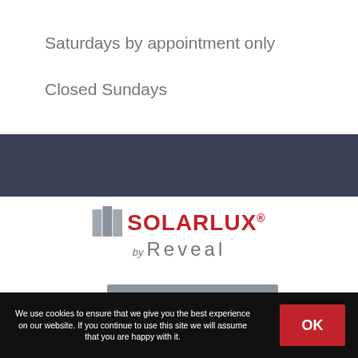Saturdays by appointment only
Closed Sundays
[Figure (logo): Solarlux by Reveal logo with grey book icon, red SOLARLUX text with registered trademark, and grey 'by Reveal' text beneath]
[Figure (other): Social media icon bar with Facebook, Instagram, YouTube, and LinkedIn icons on grey background]
We use cookies to ensure that we give you the best experience on our website. If you continue to use this site we will assume that you are happy with it.